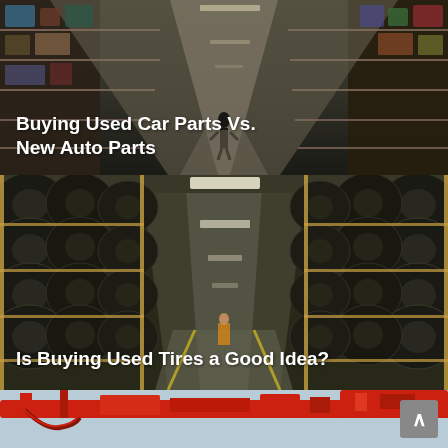[Figure (photo): Interior of a large auto parts warehouse with long shelving aisles filled with car parts, a person walking in the center aisle]
Buying Used Car Parts Vs. New Auto Parts
[Figure (photo): Interior of a tire warehouse with long aisles of stacked used tires on both sides, yellow floor markings, bright overhead lights]
Is Buying Used Tires a Good Idea?
[Figure (photo): Close-up of a red heavy-duty mechanical piece of equipment, partially visible at the bottom of the page]